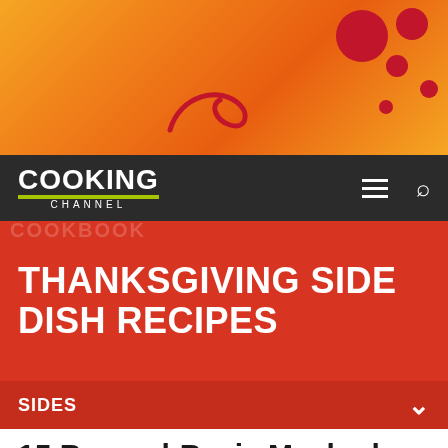[Figure (screenshot): Cooking Channel website header with orange-red gradient background, red decorative circles, and a red swirl/logo element]
COOKING CHANNEL
THANKSGIVING SIDE DISH RECIPES
SIDES
15 Beyond-Basic Mashed Potatoes
Upgrade one of the most-loved dishes on your dining table